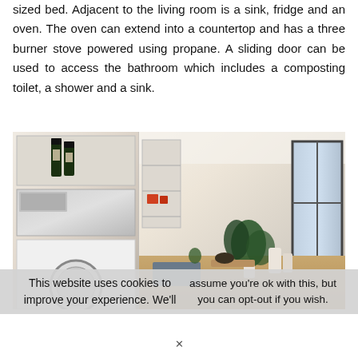sized bed. Adjacent to the living room is a sink, fridge and an oven. The oven can extend into a countertop and has a three burner stove powered using propane. A sliding door can be used to access the bathroom which includes a composting toilet, a shower and a sink.
[Figure (photo): Interior photo of a tiny home showing kitchen area on left with wine bottles on shelf, appliances, and a washing machine, and living room on right with shelving, glass door, plant, couch, and dining table.]
This website uses cookies to improve your experience. We'll
assume you're ok with this, but you can opt-out if you wish.